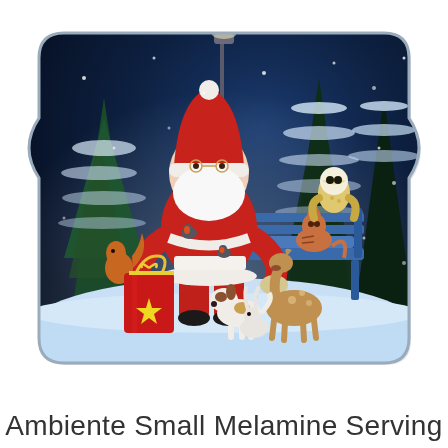[Figure (photo): A melamine serving tray with rounded rectangular shape and curved indentations on the long sides. The tray features a Christmas scene: Santa Claus in red suit sitting on a snowy park bench surrounded by animals including a cat, deer/fawn, rabbit, dog, squirrel, barn owl, and robin birds. Snow-covered pine trees are in the background against a dark night sky with falling snowflakes. A red gift bag sits beside Santa.]
Ambiente Small Melamine Serving